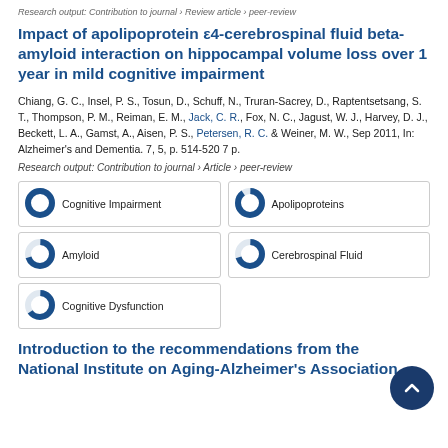Research output: Contribution to journal › Review article › peer-review
Impact of apolipoprotein ε4-cerebrospinal fluid beta-amyloid interaction on hippocampal volume loss over 1 year in mild cognitive impairment
Chiang, G. C., Insel, P. S., Tosun, D., Schuff, N., Truran-Sacrey, D., Raptentsetsang, S. T., Thompson, P. M., Reiman, E. M., Jack, C. R., Fox, N. C., Jagust, W. J., Harvey, D. J., Beckett, L. A., Gamst, A., Aisen, P. S., Petersen, R. C. & Weiner, M. W., Sep 2011, In: Alzheimer's and Dementia. 7, 5, p. 514-520 7 p.
Research output: Contribution to journal › Article › peer-review
[Figure (infographic): Fingerprint keyword badges with donut chart icons: Cognitive Impairment 100%, Apolipoproteins 90%, Amyloid 70%, Cerebrospinal Fluid 70%, Cognitive Dysfunction 65%]
Introduction to the recommendations from the National Institute on Aging-Alzheimer's Association